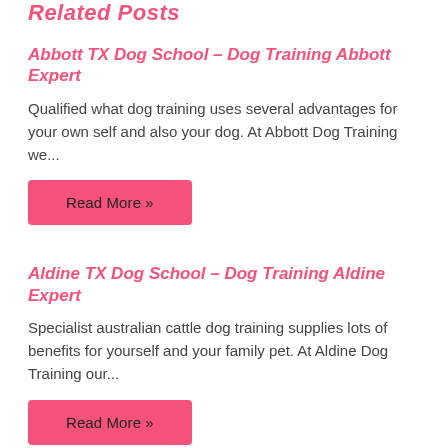Related Posts
Abbott TX Dog School – Dog Training Abbott Expert
Qualified what dog training uses several advantages for your own self and also your dog. At Abbott Dog Training we...
Read More »
Aldine TX Dog School – Dog Training Aldine Expert
Specialist australian cattle dog training supplies lots of benefits for yourself and your family pet. At Aldine Dog Training our...
Read More »
Abernathy TX Dog School – Dog Training